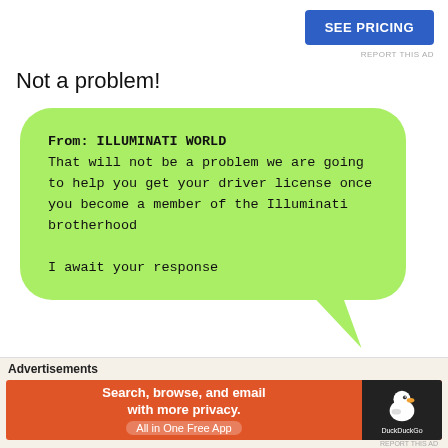[Figure (screenshot): Blue 'SEE PRICING' button in top-right area of page]
REPORT THIS AD
Not a problem!
[Figure (screenshot): Green speech bubble message from ILLUMINATI WORLD: 'From: ILLUMINATI WORLD
That will not be a problem we are going to help you get your driver license once you become a member of the Illuminati brotherhood

I await your response']
Advertisements
[Figure (screenshot): DuckDuckGo advertisement banner with orange background. Text: 'Search, browse, and email with more privacy. All in One Free App'. DuckDuckGo logo on right side.]